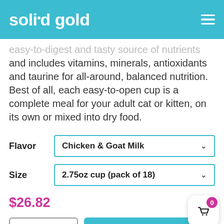solid gold
easy-to-digest and tasty source of nutrients and includes vitamins, minerals, antioxidants and taurine for all-around, balanced nutrition. Best of all, each easy-to-open cup is a complete meal for your adult cat or kitten, on its own or mixed into dry food.
Flavor: Chicken & Goat Milk
Size: 2.75oz cup (pack of 18)
$26.82
- 1 + | Add to cart